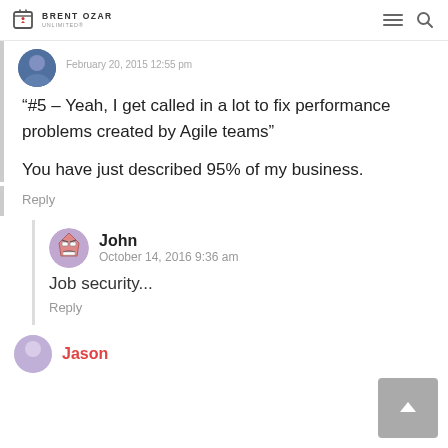BRENT OZAR UNLIMITED
February 20, 2015 12:55 pm
“#5 – Yeah, I get called in a lot to fix performance problems created by Agile teams”

You have just described 95% of my business.
Reply
John
October 14, 2016 9:36 am
Job security...
Reply
Jason